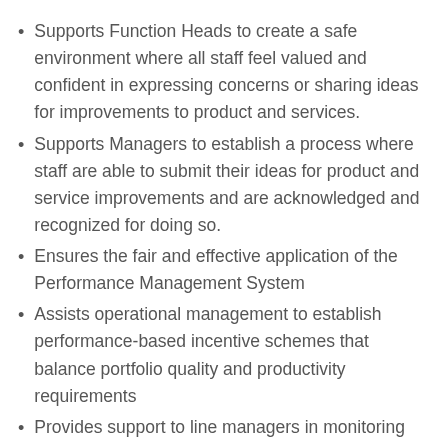Supports Function Heads to create a safe environment where all staff feel valued and confident in expressing concerns or sharing ideas for improvements to product and services.
Supports Managers to establish a process where staff are able to submit their ideas for product and service improvements and are acknowledged and recognized for doing so.
Ensures the fair and effective application of the Performance Management System
Assists operational management to establish performance-based incentive schemes that balance portfolio quality and productivity requirements
Provides support to line managers in monitoring